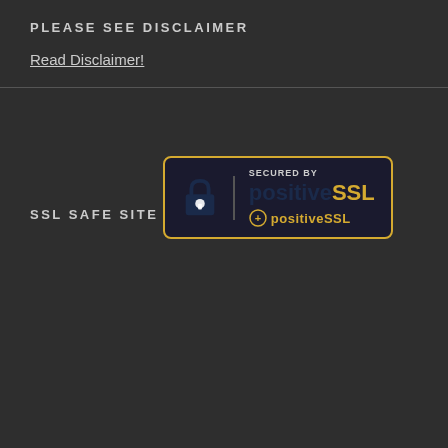PLEASE SEE DISCLAIMER
Read Disclaimer!
SSL SAFE SITE
[Figure (logo): Secured by positiveSSL badge with padlock icon and gold border]